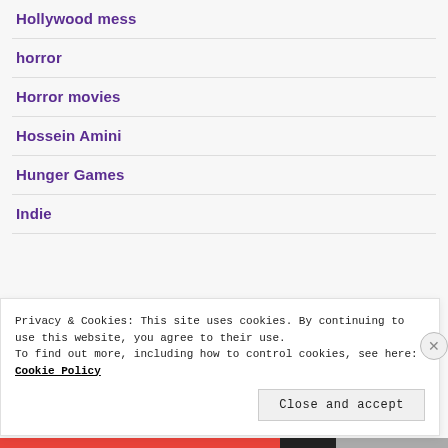Hollywood mess
horror
Horror movies
Hossein Amini
Hunger Games
Indie
Privacy & Cookies: This site uses cookies. By continuing to use this website, you agree to their use. To find out more, including how to control cookies, see here: Cookie Policy
Close and accept